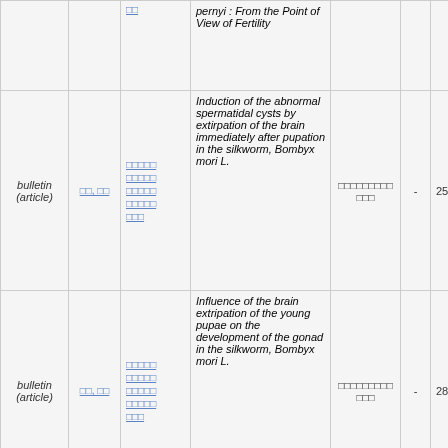| Type | Author | Contributors | Title | Journal | Vol | Date |
| --- | --- | --- | --- | --- | --- | --- |
|  |  | □□ | pernyi : From the Point of View of Fertility |  |  |  |
| bulletin (article) | □□, □□ | □□□□□ □□□□□ □□□□□ □□□□□ □□□ | Induction of the abnormal spermatidal cysts by extirpation of the brain immediately after pupation in the silkworm, Bombyx mori L. | □□□□□□□□□□□ | - | 25-Jan-197 |
| bulletin (article) | □□, □□ | □□□□□ □□□□□ □□□□□ □□□□□ □□□ | Influence of the brain extripation of the young pupae on the development of the gonad in the silkworm, Bombyx mori L. | □□□□□□□□□□□ | - | 28-Feb-196 |
|  |  |  | After effectiveness |  |  |  |